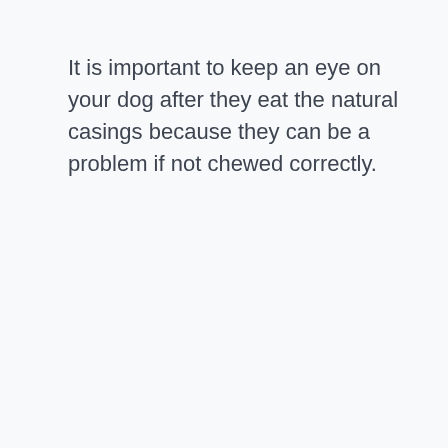It is important to keep an eye on your dog after they eat the natural casings because they can be a problem if not chewed correctly.